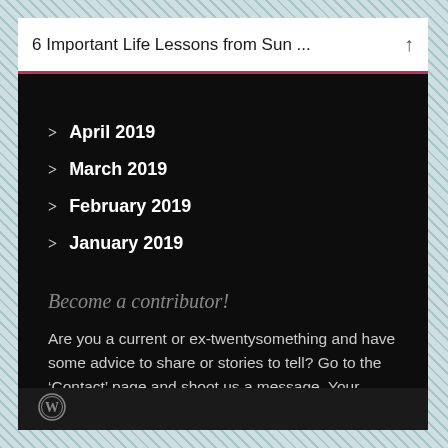6 Important Life Lessons from Sun ...
April 2019
March 2019
February 2019
January 2019
Become a contributor!
Are you a current or ex-twentysomething and have some advice to share or stories to tell? Go to the ‘Contact’ page and shoot us a message. Your words and experiences can help the next generation!
WordPress logo